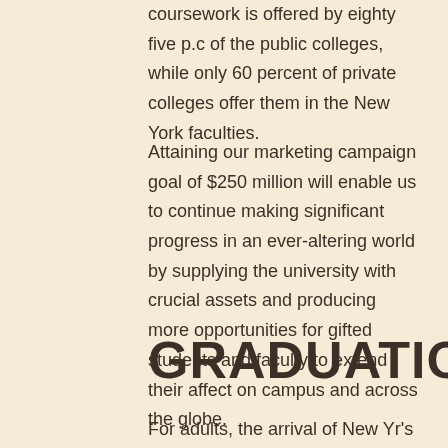coursework is offered by eighty five p.c of the public colleges, while only 60 percent of private colleges offer them in the New York faculties.
Attaining our marketing campaign goal of $250 million will enable us to continue making significant progress in an ever-altering world by supplying the university with crucial assets and producing more opportunities for gifted students and faculty to extend their affect on campus and across the globe.
GRADUATION
For adults, the arrival of New Yr's Day conjures up an